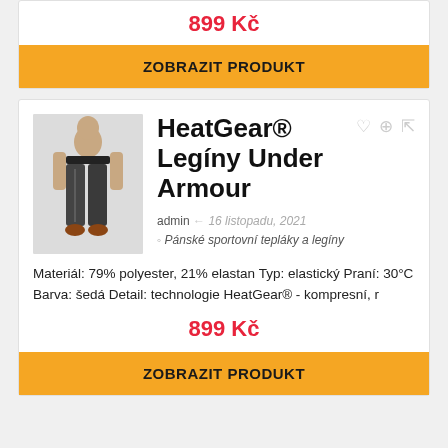899 Kč
ZOBRAZIT PRODUKT
[Figure (photo): Man wearing dark grey HeatGear compression leggings/tights, standing upright]
HeatGear® Legíny Under Armour
admin · 16 listopadu, 2021 · Pánské sportovní tepláky a legíny
Materiál: 79% polyester, 21% elastan Typ: elastický Praní: 30°C Barva: šedá Detail: technologie HeatGear® - kompresní, r
899 Kč
ZOBRAZIT PRODUKT